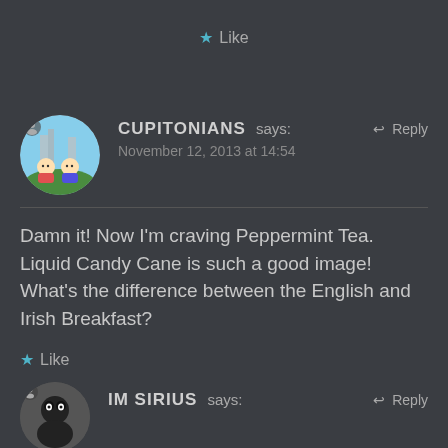★ Like
CUPITONIANS says:  ↩ Reply
November 12, 2013 at 14:54
Damn it! Now I'm craving Peppermint Tea. Liquid Candy Cane is such a good image! What's the difference between the English and Irish Breakfast?
★ Like
IM SIRIUS says:  ↩ Reply